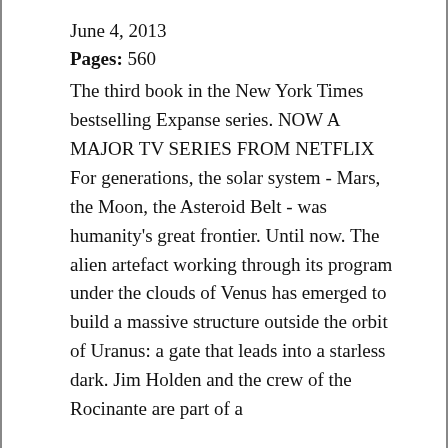June 4, 2013
Pages: 560
The third book in the New York Times bestselling Expanse series. NOW A MAJOR TV SERIES FROM NETFLIX For generations, the solar system - Mars, the Moon, the Asteroid Belt - was humanity's great frontier. Until now. The alien artefact working through its program under the clouds of Venus has emerged to build a massive structure outside the orbit of Uranus: a gate that leads into a starless dark. Jim Holden and the crew of the Rocinante are part of a